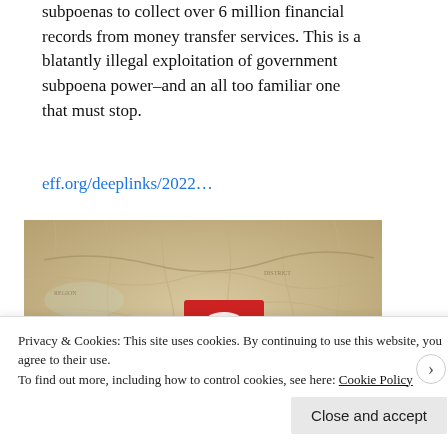subpoenas to collect over 6 million financial records from money transfer services. This is a blatantly illegal exploitation of government subpoena power–and an all too familiar one that must stop.
eff.org/deeplinks/2022…
[Figure (photo): A red pin/flag with a white eye icon stuck into an old-style map, with shallow depth of field.]
Privacy & Cookies: This site uses cookies. By continuing to use this website, you agree to their use.
To find out more, including how to control cookies, see here: Cookie Policy